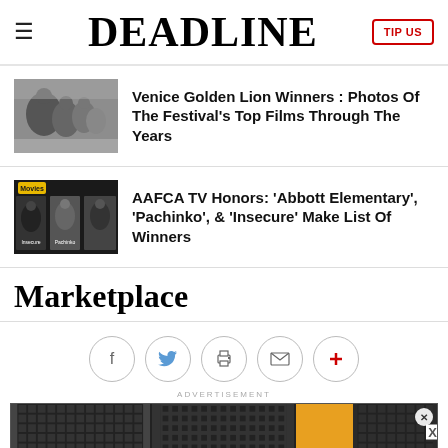DEADLINE | TIP US
[Figure (photo): Black and white photo thumbnail for Venice Golden Lion article]
Venice Golden Lion Winners : Photos Of The Festival's Top Films Through The Years
[Figure (photo): TV show thumbnail for AAFCA article showing Insecure, Abbott Elementary, Pachinko on Movies]
AAFCA TV Honors: 'Abbott Elementary', 'Pachinko', & 'Insecure' Make List Of Winners
Marketplace
[Figure (other): Social sharing icons row: Facebook, Twitter, Print, Email, Plus]
ADVERTISEMENT
[Figure (photo): Advertisement banner with tiled dark texture images]
[Figure (other): Crew Call advertisement with Listen Now button]